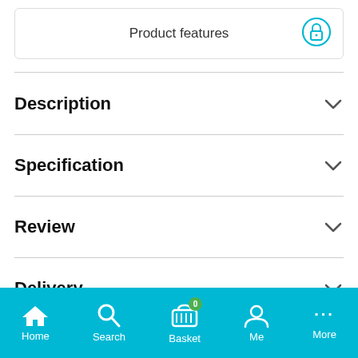Product features
Description
Specification
Review
Delivery
Home  Search  Basket  Me  More